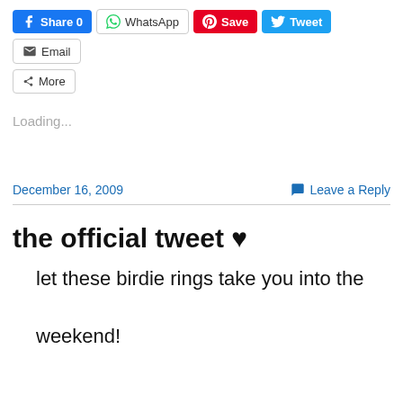[Figure (screenshot): Social share buttons row: Facebook Share 0, WhatsApp, Pinterest Save, Twitter Tweet, Email]
More
Loading...
December 16, 2009
Leave a Reply
the official tweet ♥
let these birdie rings take you into the weekend!